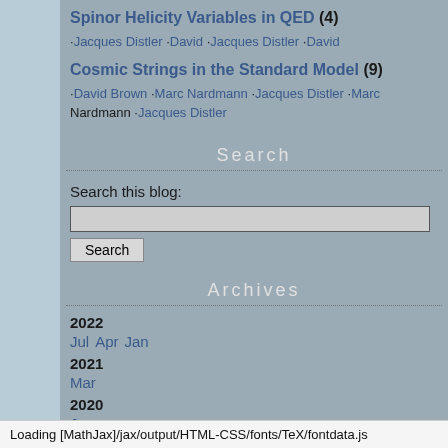Spinor Helicity Variables in QED (4)
·Jacques Distler ·David ·Jacques Distler ·David
Cosmic Strings in the Standard Model (9)
·David Brown ·Marc Nardmann ·Jacques Distler ·Marc Nardmann ·Jacques Distler
Search
Search this blog:
Archives
2022
Jul  Apr  Jan
2021
Mar
2020
Jan
2019
Feb
2018
Dec
Loading [MathJax]/jax/output/HTML-CSS/fonts/TeX/fontdata.js